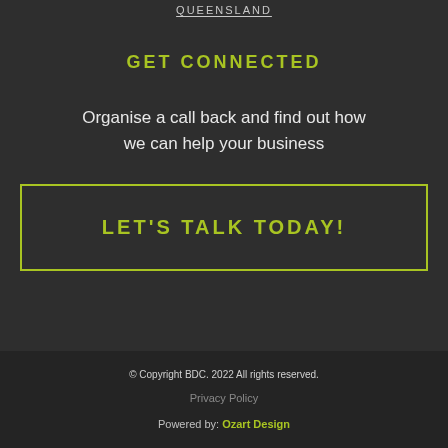QUEENSLAND
GET CONNECTED
Organise a call back and find out how we can help your business
LET'S TALK TODAY!
© Copyright BDC. 2022 All rights reserved.
Privacy Policy
Powered by: Ozart Design